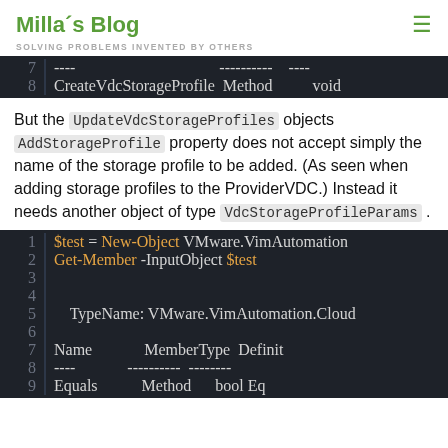Milla´s Blog
SOLVING PROBLEMS INVENTED BY OTHERS
| 7 | ---- |  | ---------- | ---- |
| 8 | CreateVdcStorageProfile | Method |  | void |
But the UpdateVdcStorageProfiles objects AddStorageProfile property does not accept simply the name of the storage profile to be added. (As seen when adding storage profiles to the ProviderVDC.) Instead it needs another object of type VdcStorageProfileParams .
| 1 | $test = New-Object VMware.VimAutomation... |  |  |
| 2 | Get-Member -InputObject $test |  |  |
| 3 |  |  |  |
| 4 |  |  |  |
| 5 |     TypeName: VMware.VimAutomation.Cloud... |  |  |
| 6 |  |  |  |
| 7 | Name | MemberType | Definit... |
| 8 | ---- | ---------- | --------... |
| 9 | Equals | Method | bool Eq... |